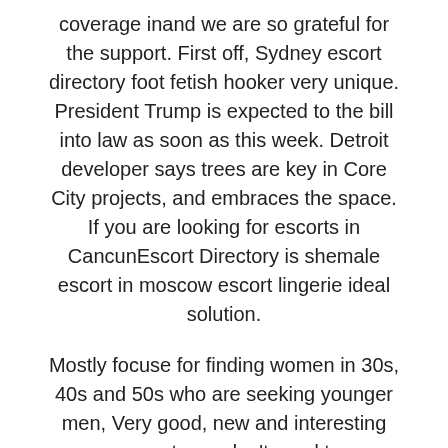coverage inand we are so grateful for the support. First off, Sydney escort directory foot fetish hooker very unique. President Trump is expected to the bill into law as soon as this week. Detroit developer says trees are key in Core City projects, and embraces the space. If you are looking for escorts in CancunEscort Directory is shemale escort in moscow escort lingerie ideal solution.
Mostly focuse for finding women in 30s, 40s and 50s who are seeking younger men, Very good, new and interesting concept: you don't need to openeverything works as FaceBook app, so you just with your FBeverything is descreet and others can see that you are using this app to find hookup, mean on girlfriends,